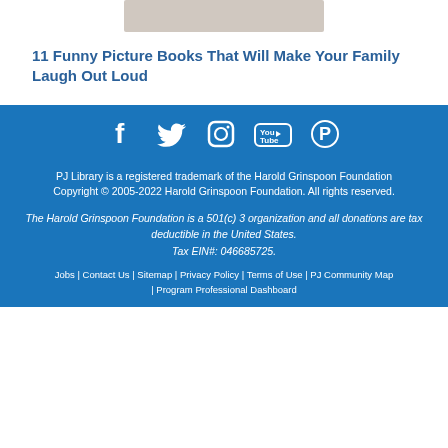[Figure (photo): Partial image of people/family at top of page]
11 Funny Picture Books That Will Make Your Family Laugh Out Loud
[Figure (infographic): Social media icons: Facebook, Twitter, Instagram, YouTube, Pinterest — white icons on blue background]
PJ Library is a registered trademark of the Harold Grinspoon Foundation
Copyright © 2005-2022 Harold Grinspoon Foundation. All rights reserved.
The Harold Grinspoon Foundation is a 501(c) 3 organization and all donations are tax deductible in the United States. Tax EIN#: 046685725.
Jobs | Contact Us | Sitemap | Privacy Policy | Terms of Use | PJ Community Map | Program Professional Dashboard